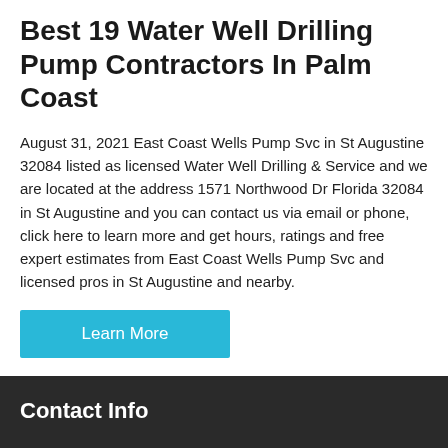Best 19 Water Well Drilling Pump Contractors In Palm Coast
August 31, 2021 East Coast Wells Pump Svc in St Augustine 32084 listed as licensed Water Well Drilling & Service and we are located at the address 1571 Northwood Dr Florida 32084 in St Augustine and you can contact us via email or phone, click here to learn more and get hours, ratings and free expert estimates from East Coast Wells Pump Svc and licensed pros in St Augustine and nearby.
Contact Info